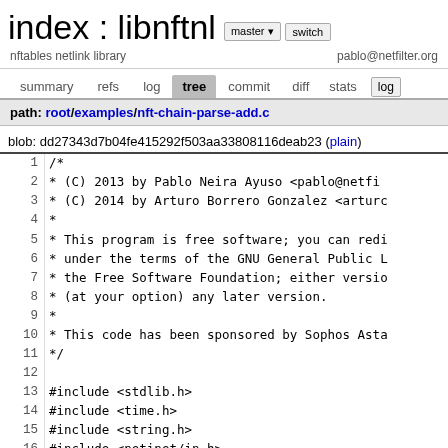index : libnftnl
nftables netlink library
pablo@netfilter.org
summary  refs  log  tree  commit  diff  stats
path: root/examples/nft-chain-parse-add.c
blob: dd27343d7b04fe415292f503aa33808116deab23 (plain)
1  /*
2   * (C) 2013 by Pablo Neira Ayuso <pablo@netfil
3   * (C) 2014 by Arturo Borrero Gonzalez <arturo
4   *
5   * This program is free software; you can redi
6   * under the terms of the GNU General Public L
7   * the Free Software Foundation; either versio
8   * (at your option) any later version.
9   *
10  * This code has been sponsored by Sophos Asta
11  */
12
13 #include <stdlib.h>
14 #include <time.h>
15 #include <string.h>
16 #include <netinet/in.h>
17 #include <sys/types.h>